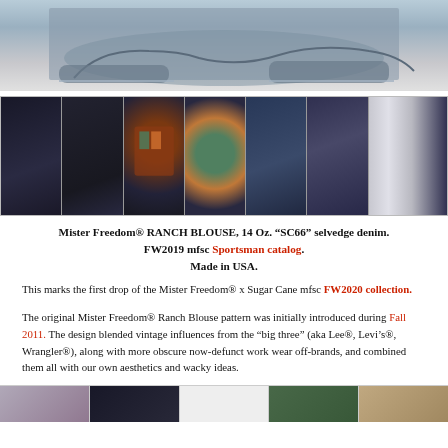[Figure (photo): Top portion of a denim jacket with frayed/raw edges on a light background]
[Figure (photo): Collage of 7 photos showing details of a denim ranch blouse jacket: full jacket, collar detail, plaid lining, button detail, pocket detail, worn detail, and full-body model shot]
Mister Freedom® RANCH BLOUSE, 14 Oz. “SC66” selvedge denim. FW2019 mfsc Sportsman catalog. Made in USA.
This marks the first drop of the Mister Freedom® x Sugar Cane mfsc FW2020 collection.
The original Mister Freedom® Ranch Blouse pattern was initially introduced during Fall 2011. The design blended vintage influences from the “big three” (aka Lee®, Levi’s®, Wrangler®), along with more obscure now-defunct work wear off-brands, and combined them all with our own aesthetics and wacky ideas.
[Figure (photo): Bottom strip of 5 photos showing additional denim product images]